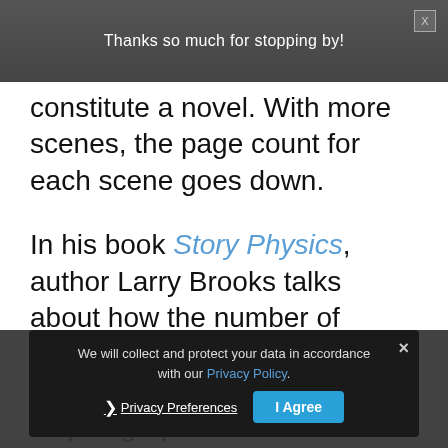Thanks so much for stopping by!
constitute a novel. With more scenes, the page count for each scene goes down.
In his book Story Physics, author Larry Brooks talks about how the number of scenes affects the pacing of the plot. He has created this helpful graphic on scenes and dramatic structure. To keep the novel from sprawling all over the place without a plot, Brooks advocate...
We will collect and protect your data in accordance with our Privacy Policy.
❯ Privacy Preferences
I Agree